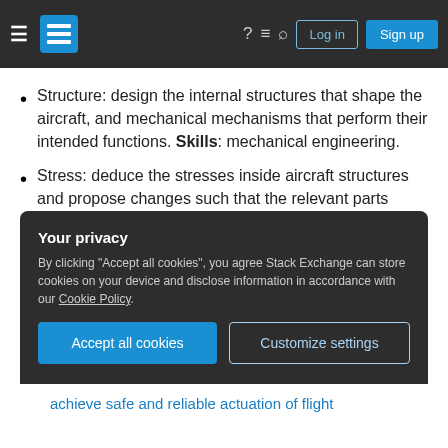Stack Exchange navigation bar with hamburger menu, logo, icons, Log in and Sign up buttons
Structure: design the internal structures that shape the aircraft, and mechanical mechanisms that perform their intended functions. Skills: mechanical engineering.
Stress: deduce the stresses inside aircraft structures and propose changes such that the relevant parts achieve the required fatigue cycles. Skills: mechanical engineering.
Flight controls (traditional): designing the mechanical/hydraulic architecture and
Your privacy
By clicking "Accept all cookies", you agree Stack Exchange can store cookies on your device and disclose information in accordance with our Cookie Policy.
Accept all cookies   Customize settings
achieve safe and reliable actuation of flight